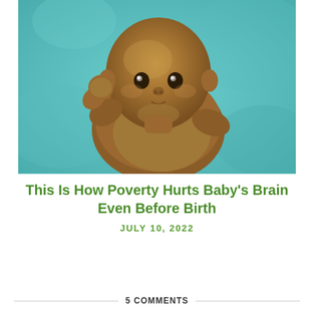[Figure (photo): A newborn baby lying on a teal/turquoise fabric background, looking upward with large eyes]
This Is How Poverty Hurts Baby's Brain Even Before Birth
JULY 10, 2022
5 COMMENTS